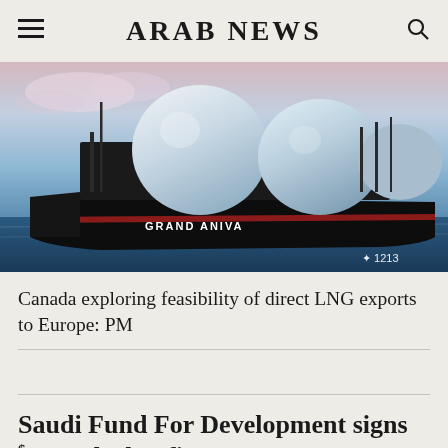ARAB NEWS
[Figure (photo): LNG tanker ship named 'Grand Aniva' on open water with spherical LNG storage tanks visible, photographed at dusk/dawn with pink and blue sky. Watermark shows '1213' with a logo.]
Canada exploring feasibility of direct LNG exports to Europe: PM
Saudi Fund For Development signs $4.7m deal to finance